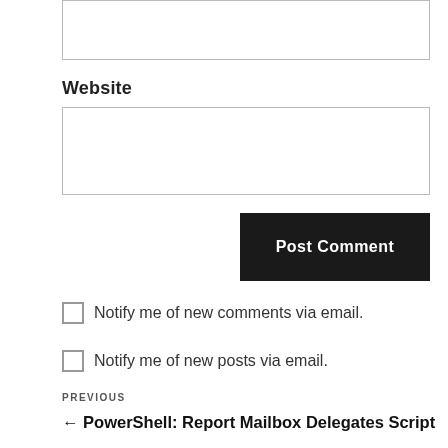Website
Post Comment
Notify me of new comments via email.
Notify me of new posts via email.
PREVIOUS
← PowerShell: Report Mailbox Delegates Script (365 or O365 Migration Tool) Part 2